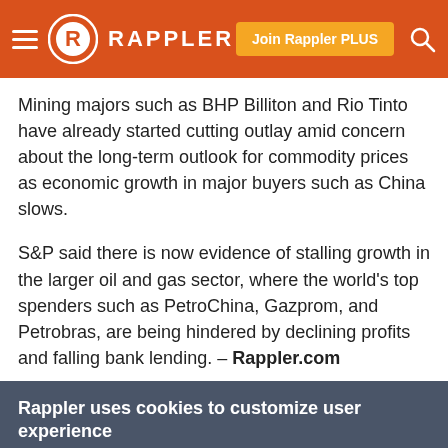Rappler — Join Rappler PLUS
Mining majors such as BHP Billiton and Rio Tinto have already started cutting outlay amid concern about the long-term outlook for commodity prices as economic growth in major buyers such as China slows.
S&P said there is now evidence of stalling growth in the larger oil and gas sector, where the world's top spenders such as PetroChina, Gazprom, and Petrobras, are being hindered by declining profits and falling bank lending. – Rappler.com
Rappler uses cookies to customize user experience
By continued use, you agree to our privacy policy and accept our use of such cookies. For further information, click find out more
I ACCEPT